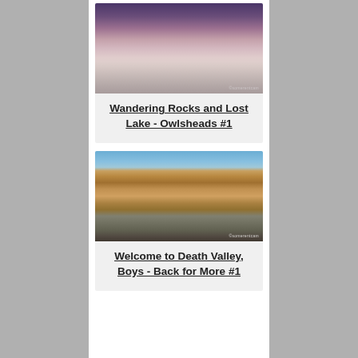[Figure (photo): Death Valley salt flats at dusk with purple sky and lone rock on cracked salt flat surface]
Wandering Rocks and Lost Lake - Owlsheads #1
[Figure (photo): Narrow canyon with tall golden and gray rock walls converging, blue sky above, vehicles visible at bottom]
Welcome to Death Valley, Boys - Back for More #1